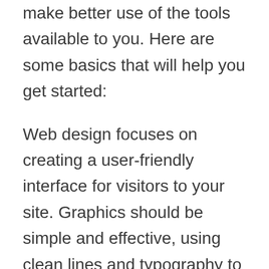make better use of the tools available to you. Here are some basics that will help you get started:
Web design focuses on creating a user-friendly interface for visitors to your site. Graphics should be simple and effective, using clean lines and typography to create an attractive appearance. To create graphics that look professional, consider using curves and shadows in your designs.
Graphic design is the practice of creating images for use in print or electronic media.